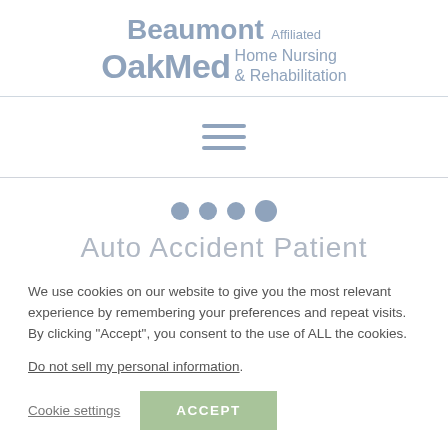Beaumont Affiliated OakMed Home Nursing & Rehabilitation
[Figure (other): Hamburger menu icon with three horizontal lines in a muted blue-gray color]
[Figure (other): Three dots (loading/progress indicator) in muted blue-gray color]
Auto Accident Patient
We use cookies on our website to give you the most relevant experience by remembering your preferences and repeat visits. By clicking "Accept", you consent to the use of ALL the cookies.
Do not sell my personal information.
Cookie settings   ACCEPT